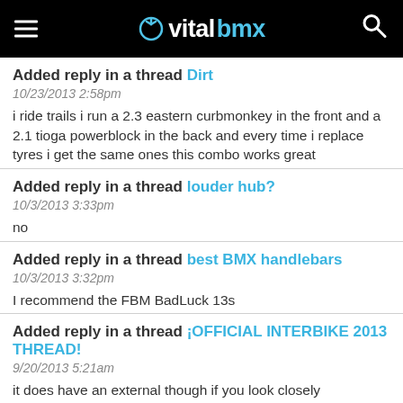vitalbmx
Added reply in a thread Dirt
10/23/2013 2:58pm
i ride trails i run a 2.3 eastern curbmonkey in the front and a 2.1 tioga powerblock in the back and every time i replace tyres i get the same ones this combo works great
Added reply in a thread louder hub?
10/3/2013 3:33pm
no
Added reply in a thread best BMX handlebars
10/3/2013 3:32pm
I recommend the FBM BadLuck 13s
Added reply in a thread ¡OFFICIAL INTERBIKE 2013 THREAD!
9/20/2013 5:21am
it does have an external though if you look closely